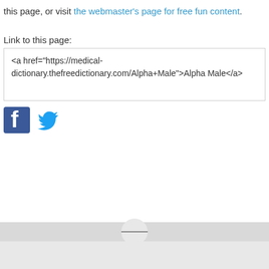this page, or visit the webmaster's page for free fun content.
Link to this page:
<a href="https://medical-dictionary.thefreedictionary.com/Alpha+Male">Alpha Male</a>
[Figure (logo): Facebook and Twitter social media icons]
Navigation/menu bar at bottom of page